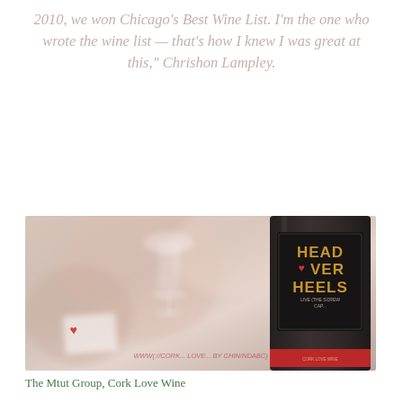2010, we won Chicago's Best Wine List. I'm the one who wrote the wine list — that's how I knew I was great at this," Chrishon Lampley.
[Figure (photo): A wine bottle labeled 'HEAD VER HEELS' with a dark label featuring gold text and a red heart, set against a blurred background of a restaurant scene with wine glasses and a small card with a heart logo.]
The Mtut Group, Cork Love Wine